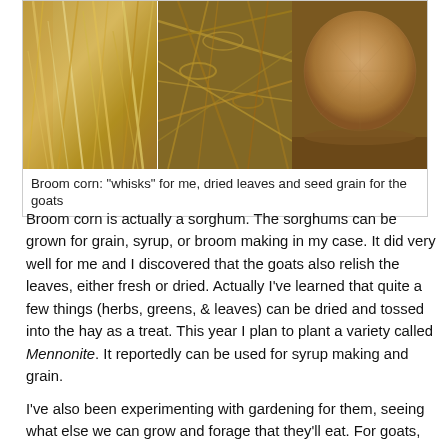[Figure (photo): Three-panel photo strip showing broom corn material: left panel shows golden fibrous whisks/strands, center panel shows dried tangled leaves and stalks, right panel shows close-up of a round seed grain head with fine brown texture.]
Broom corn: "whisks" for me, dried leaves and seed grain for the goats
Broom corn is actually a sorghum. The sorghums can be grown for grain, syrup, or broom making in my case. It did very well for me and I discovered that the goats also relish the leaves, either fresh or dried. Actually I've learned that quite a few things (herbs, greens, & leaves) can be dried and tossed into the hay as a treat. This year I plan to plant a variety called Mennonite. It reportedly can be used for syrup making and grain.
I've also been experimenting with gardening for them, seeing what else we can grow and forage that they'll eat. For goats,